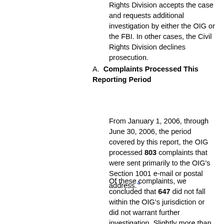Rights Division accepts the case and requests additional investigation by either the OIG or the FBI. In other cases, the Civil Rights Division declines prosecution.
A. Complaints Processed This Reporting Period
From January 1, 2006, through June 30, 2006, the period covered by this report, the OIG processed 803 complaints that were sent primarily to the OIG's Section 1001 e-mail or postal address.4
Of these complaints, we concluded that 647 did not fall within the OIG's jurisdiction or did not warrant further investigation. Slightly more than half of the complaints – 336 of the 647 – involved allegations against agencies or entities outside of the DOJ, including other federal agencies, local governments, or private businesses. We referred those complaints to the appropriate entity or advised complainants of the entity with jurisdiction over their allegations. The remaining 311 complaints raised allegations that, on their face, did not warrant an investigation. For example, complaints in this category included frivolous allegations that FBI agents implanted a global positioning system into